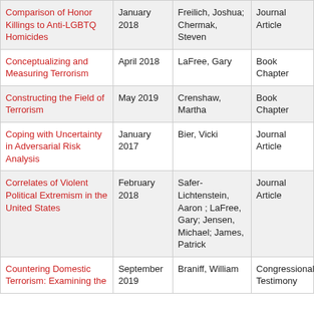| Title | Date | Author | Type |
| --- | --- | --- | --- |
| Comparison of Honor Killings to Anti-LGBTQ Homicides | January 2018 | Freilich, Joshua; Chermak, Steven | Journal Article |
| Conceptualizing and Measuring Terrorism | April 2018 | LaFree, Gary | Book Chapter |
| Constructing the Field of Terrorism | May 2019 | Crenshaw, Martha | Book Chapter |
| Coping with Uncertainty in Adversarial Risk Analysis | January 2017 | Bier, Vicki | Journal Article |
| Correlates of Violent Political Extremism in the United States | February 2018 | Safer-Lichtenstein, Aaron ; LaFree, Gary; Jensen, Michael; James, Patrick | Journal Article |
| Countering Domestic Terrorism: Examining the | September 2019 | Braniff, William | Congressional Testimony |